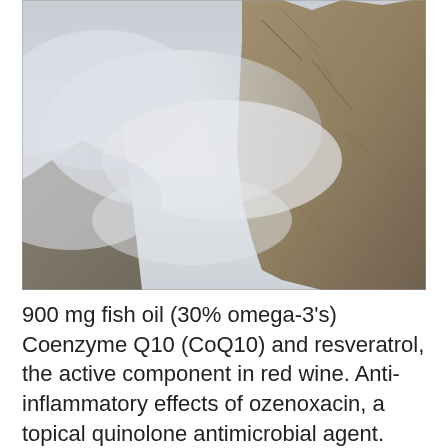[Figure (photo): A rocky mountain cliff face with white mist or clouds swirling around it against a grey sky background.]
900 mg fish oil (30% omega-3's) Coenzyme Q10 (CoQ10) and resveratrol, the active component in red wine. Anti-inflammatory effects of ozenoxacin, a topical quinolone antimicrobial agent. Ozenoxacin is a topical quinolone showing potent antimicrobial activities against Gram-negative and Gram-positive